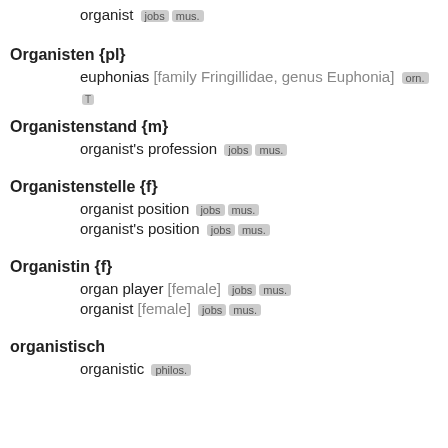organist [jobs] [mus.]
Organisten {pl}
euphonias [family Fringillidae, genus Euphonia] [orn.] [T]
Organistenstand {m}
organist's profession [jobs] [mus.]
Organistenstelle {f}
organist position [jobs] [mus.]
organist's position [jobs] [mus.]
Organistin {f}
organ player [female] [jobs] [mus.]
organist [female] [jobs] [mus.]
organistisch
organistic [philos.]